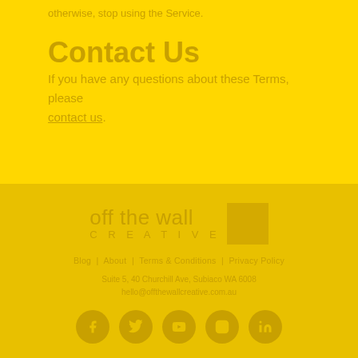…otherwise, stop using the Service.
Contact Us
If you have any questions about these Terms, please contact us.
[Figure (logo): Off The Wall Creative logo with square graphic mark]
Blog  |  About  |  Terms & Conditions  |  Privacy Policy
Suite 5, 40 Churchill Ave, Subiaco WA 6008
hello@offthewallcreative.com.au
[Figure (other): Social media icons: Facebook, Twitter, YouTube, Instagram, LinkedIn]